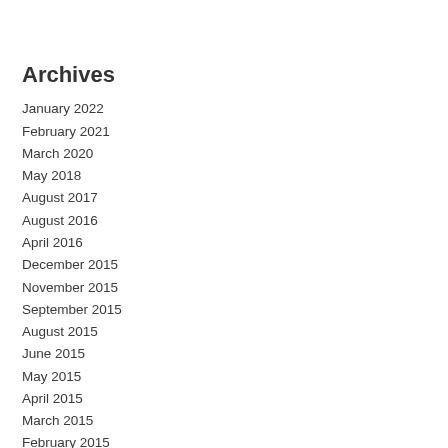Archives
January 2022
February 2021
March 2020
May 2018
August 2017
August 2016
April 2016
December 2015
November 2015
September 2015
August 2015
June 2015
May 2015
April 2015
March 2015
February 2015